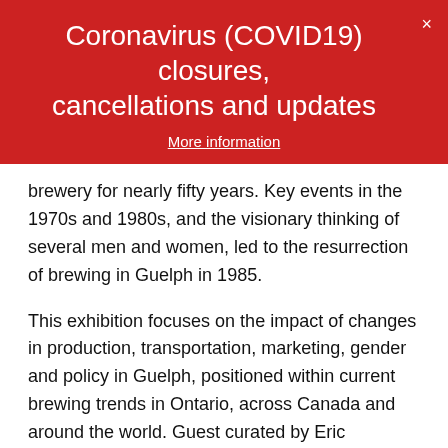Coronavirus (COVID19) closures, cancellations and updates
More information
brewery for nearly fifty years. Key events in the 1970s and 1980s, and the visionary thinking of several men and women, led to the resurrection of brewing in Guelph in 1985.
This exhibition focuses on the impact of changes in production, transportation, marketing, gender and policy in Guelph, positioned within current brewing trends in Ontario, across Canada and around the world. Guest curated by Eric Payseur, Brewing Changes Guelph is as much about the present and future of brewing in Guelph as it is about its illustrious past.